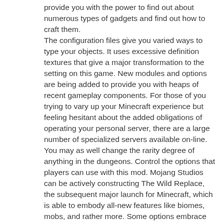provide you with the power to find out about numerous types of gadgets and find out how to craft them. The configuration files give you varied ways to type your objects. It uses excessive definition textures that give a major transformation to the setting on this game. New modules and options are being added to provide you with heaps of recent gameplay components. For those of you trying to vary up your Minecraft experience but feeling hesitant about the added obligations of operating your personal server, there are a large number of specialized servers available on-line. You may as well change the rarity degree of anything in the dungeons. Control the options that players can use with this mod. Mojang Studios can be actively constructing The Wild Replace, the subsequent major launch for Minecraft, which is able to embody all-new features like biomes, mobs, and rather more. Some options embrace upgraded caves, building blocks, and new Redstone opportunities. Constructing This that or the other are available for this mod. But after spending a couple of hours crafting a brilliant Mario World and Mario 3 entries, I've come to understand the constructing course of as a type of zen meditation. When it comes to the crafting system, that's something very distinctive to TSW. There are a lot of new objects. On both, there's a diagram up